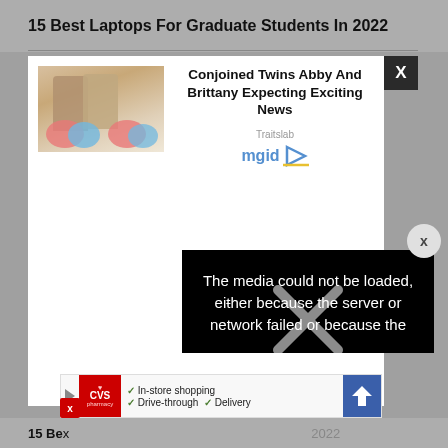15 Best Laptops For Graduate Students In 2022
[Figure (screenshot): Advertisement popup showing conjoined twins Abby and Brittany with cakes, headline 'Conjoined Twins Abby And Brittany Expecting Exciting News', Traitslab/mgid branding, with an X close button]
The media could not be loaded, either because the server or network failed or because the
[Figure (screenshot): CVS Pharmacy advertisement banner showing In-store shopping, Drive-through, and Delivery options with a navigation arrow icon]
15 Be...  ...2022